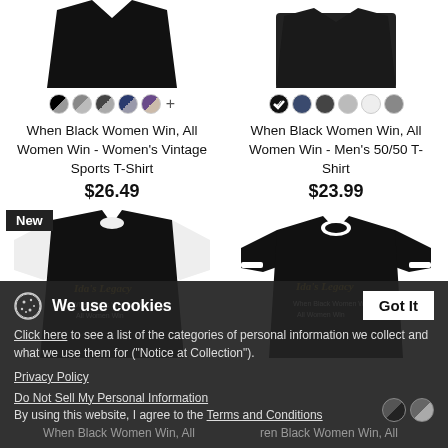[Figure (photo): Black women's vintage sports t-shirt product image (cropped, top portion)]
[Figure (photo): Black men's 50/50 t-shirt product image (cropped, top portion)]
When Black Women Win, All Women Win - Women's Vintage Sports T-Shirt
$26.49
When Black Women Win, All Women Win - Men's 50/50 T-Shirt
$23.99
[Figure (photo): Black raglan/baseball t-shirt with 'Ida's Legacy - When Black Women Win, All Women Win' text, labeled New]
[Figure (photo): Black ringer t-shirt with 'Ida's Legacy - When Black Women Win, All Women Win' text]
We use cookies
Click here to see a list of the categories of personal information we collect and what we use them for ("Notice at Collection").
Privacy Policy
Do Not Sell My Personal Information
By using this website, I agree to the Terms and Conditions
When Black Women Win, All
When Black Women Win, All